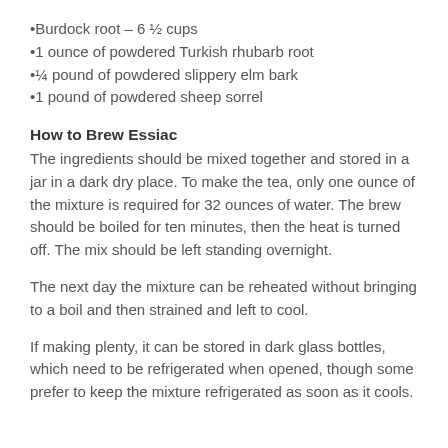•Burdock root – 6 ½ cups
•1 ounce of powdered Turkish rhubarb root
•¼ pound of powdered slippery elm bark
•1 pound of powdered sheep sorrel
How to Brew Essiac
The ingredients should be mixed together and stored in a jar in a dark dry place. To make the tea, only one ounce of the mixture is required for 32 ounces of water. The brew should be boiled for ten minutes, then the heat is turned off. The mix should be left standing overnight.
The next day the mixture can be reheated without bringing to a boil and then strained and left to cool.
If making plenty, it can be stored in dark glass bottles, which need to be refrigerated when opened, though some prefer to keep the mixture refrigerated as soon as it cools.